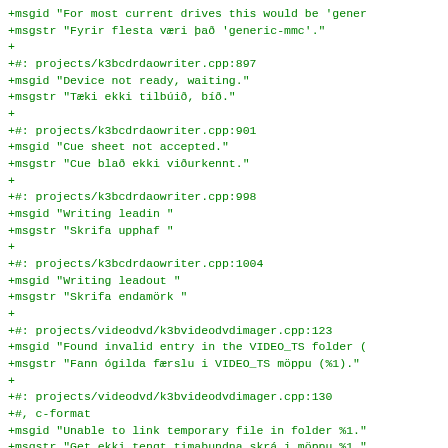+msgid "For most current drives this would be 'gener
+msgstr "Fyrir flesta væri það 'generic-mmc'."
+
+#: projects/k3bcdrdaowriter.cpp:897
+msgid "Device not ready, waiting."
+msgstr "Tæki ekki tilbúið, bíð."
+
+#: projects/k3bcdrdaowriter.cpp:901
+msgid "Cue sheet not accepted."
+msgstr "Cue blað ekki viðurkennt."
+
+#: projects/k3bcdrdaowriter.cpp:998
+msgid "Writing leadin "
+msgstr "Skrifa upphaf "
+
+#: projects/k3bcdrdaowriter.cpp:1004
+msgid "Writing leadout "
+msgstr "Skrifa endamörk "
+
+#: projects/videodvd/k3bvideodvdimager.cpp:123
+msgid "Found invalid entry in the VIDEO_TS folder (
+msgstr "Fann ógilda færslu i VIDEO_TS möppu (%1)."
+
+#: projects/videodvd/k3bvideodvdimager.cpp:130
+#, c-format
+msgid "Unable to link temporary file in folder %1."
+msgstr "Get ekki tengt timabundna skrá i möppu %1."
+
+#: projects/videodvd/k3bvideodvdimager.cpp:214
+msgid "The project does not contain all necessary V